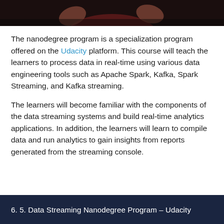[Figure (photo): Partial view of a person in a dark red/maroon shirt with hands raised, shown from shoulders up against a dark background (screenshot from a video lecture).]
The nanodegree program is a specialization program offered on the Udacity platform. This course will teach the learners to process data in real-time using various data engineering tools such as Apache Spark, Kafka, Spark Streaming, and Kafka streaming.
The learners will become familiar with the components of the data streaming systems and build real-time analytics applications. In addition, the learners will learn to compile data and run analytics to gain insights from reports generated from the streaming console.
6. 5. Data Streaming Nanodegree Program – Udacity